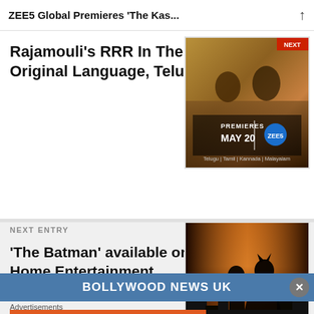ZEE5 Global Premieres 'The Kas...
Rajamouli's RRR In The Original Language, Telugu
[Figure (screenshot): ZEE5 promotional image for RRR movie premiere on May 20, with text: PREMIERES MAY 20 ZEE5, Telugu | Tamil | Kannada | Malayalam]
NEXT ENTRY
'The Batman' available on Home Entertainment
[Figure (photo): Movie still from The Batman showing two figures in dark costumes against an orange/dark city skyline background]
BOLLYWOOD NEWS UK
Advertisements
[Figure (screenshot): DuckDuckGo advertisement banner: Search, browse, and email with more privacy. All in One Free App. DuckDuckGo logo on right side.]